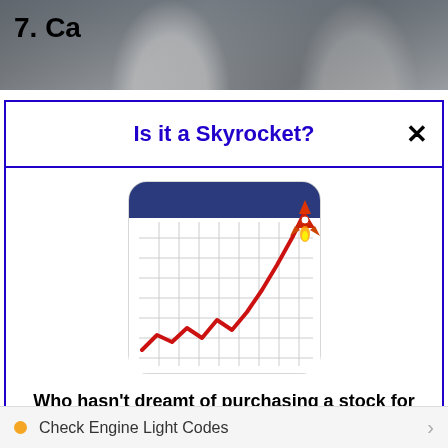[Figure (photo): Background photograph of firefighters in smoke, partially visible behind modal popup. Section number '7. Ca' visible in top left.]
Is it a Skyrocket?
[Figure (illustration): Chart icon showing a line graph with rocket, the line trends upward with a rocket motif, on a grid background with blue header bar.]
Who hasn't dreamt of purchasing a stock for $2… Hoping it would skyrocket to $200 for a quick 100-to-1 gain? That's what penny stocks can do sometimes. Check out the 4 penny stocks on our watchlist here.
>>> See The List <<<
Check Engine Light Codes